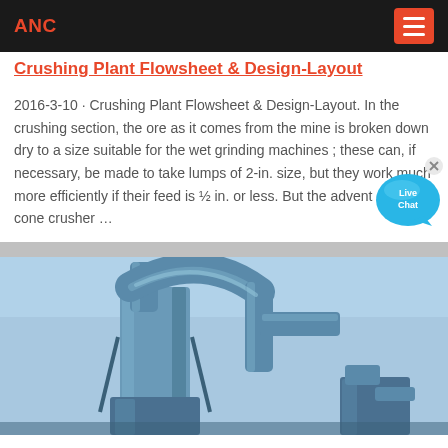ANC
Crushing Plant Flowsheet & Design-Layout
2016-3-10 · Crushing Plant Flowsheet & Design-Layout. In the crushing section, the ore as it comes from the mine is broken down dry to a size suitable for the wet grinding machines ; these can, if necessary, be made to take lumps of 2-in. size, but they work much more efficiently if their feed is ½ in. or less. But the advent of the cone crusher …
[Figure (photo): Industrial crushing plant equipment showing large blue pipes/ducts and mechanical processing machinery against a light blue sky background]